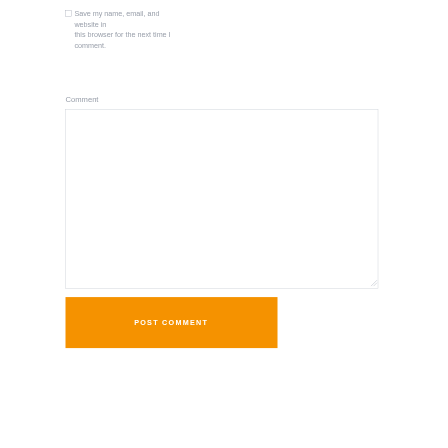Save my name, email, and website in this browser for the next time I comment.
Comment
[Figure (other): Empty textarea input box for comment entry with resize handle]
POST COMMENT